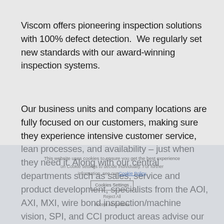Viscom offers pioneering inspection solutions with 100% defect detection.  We regularly set new standards with our award-winning inspection systems.
Our business units and company locations are fully focused on our customers, making sure they experience intensive customer service, lean processes, and availability – just when they need it. Along with our central departments such as sales, service and product development, specialists from the AOI, AXI, MXI, wire bond inspection/machine vision, SPI, and CCI product areas advise our customers in choosing the right inspection solution, while supporting those inspection solutions over the entire product life cycle. The specialists are part of our customer care teams, delivering professional commissioning, training, maintenance, and hotline services. The customer care organization is